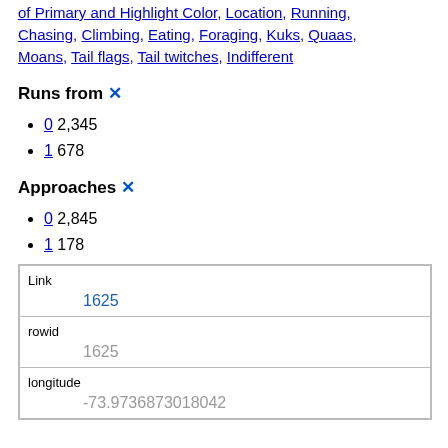of Primary and Highlight Color, Location, Running, Chasing, Climbing, Eating, Foraging, Kuks, Quaas, Moans, Tail flags, Tail twitches, Indifferent
Runs from ✕
0 2,345
1 678
Approaches ✕
0 2,845
1 178
| Field | Value |
| --- | --- |
| Link | 1625 |
| rowid | 1625 |
| longitude | -73.9736873018042 |